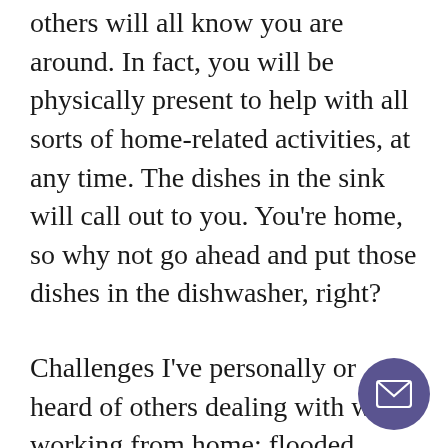others will all know you are around. In fact, you will be physically present to help with all sorts of home-related activities, at any time. The dishes in the sink will call out to you. You're home, so why not go ahead and put those dishes in the dishwasher, right?
Challenges I've personally or heard of others dealing with while working from home: flooded basements, dogs that need to go on walks mid-day, children who can't be brought to daycare due to illness, diabetic cats, windstorms,